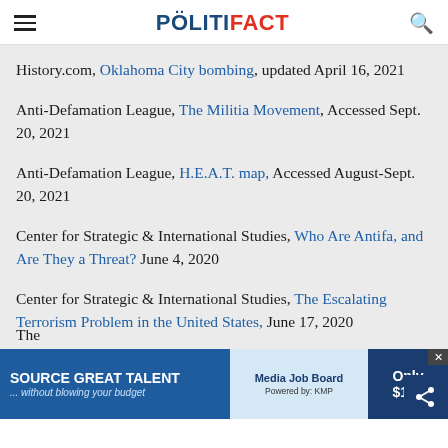POLITIFACT
History.com, Oklahoma City bombing, updated April 16, 2021
Anti-Defamation League, The Militia Movement, Accessed Sept. 20, 2021
Anti-Defamation League, H.E.A.T. map, Accessed August-Sept. 20, 2021
Center for Strategic & International Studies, Who Are Antifa, and Are They a Threat? June 4, 2020
Center for Strategic & International Studies, The Escalating Terrorism Problem in the United States, June 17, 2020
The
[Figure (screenshot): Advertisement banner: SOURCE GREAT TALENT ...without blowing your budget, Media Job Board logo, Only $199]